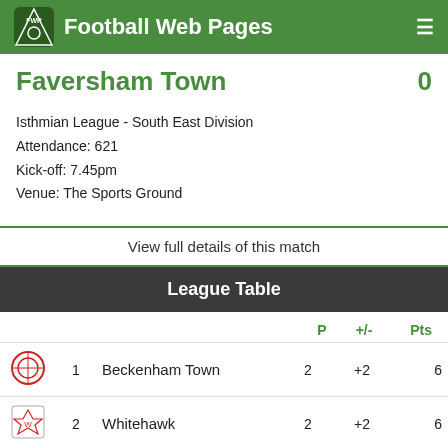Football Web Pages
Faversham Town  0
Isthmian League - South East Division
Attendance: 621
Kick-off: 7.45pm
Venue: The Sports Ground
View full details of this match
League Table
|  | Pos | Team | P | +/- | Pts |
| --- | --- | --- | --- | --- | --- |
|  | 1 | Beckenham Town | 2 | +2 | 6 |
|  | 2 | Whitehawk | 2 | +2 | 6 |
|  | 3 | Ramsgate | 2 | +3 | 4 |